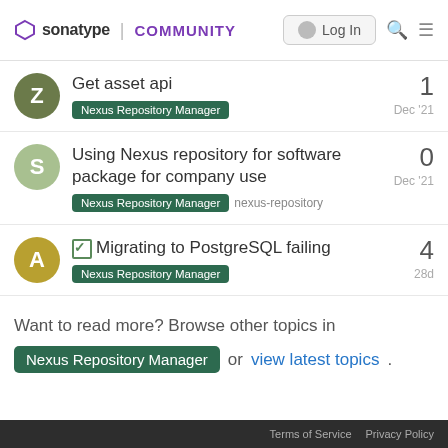sonatype | COMMUNITY  Log In
Get asset api | Nexus Repository Manager | 1 | Dec '21
Using Nexus repository for software package for company use | Nexus Repository Manager | nexus-repository | 0 | Dec '21
✓ Migrating to PostgreSQL failing | Nexus Repository Manager | 4 | 28d
Want to read more? Browse other topics in Nexus Repository Manager or view latest topics.
Terms of Service  Privacy Policy